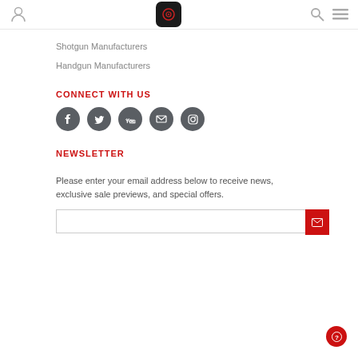Navigation bar with logo, search, and menu icons
Shotgun Manufacturers
Handgun Manufacturers
CONNECT WITH US
[Figure (infographic): Five dark grey circular social media icons: Facebook, Twitter, YouTube, Email, Instagram]
NEWSLETTER
Please enter your email address below to receive news, exclusive sale previews, and special offers.
[Figure (infographic): Email input field with red submit button containing envelope icon]